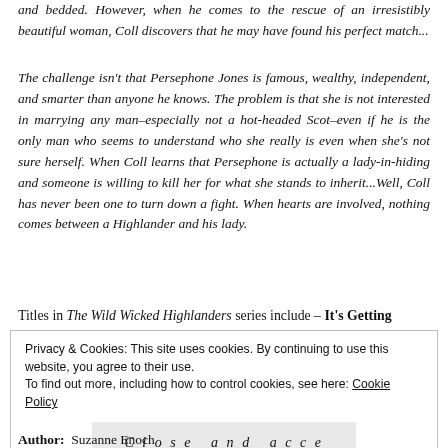and bedded. However, when he comes to the rescue of an irresistibly beautiful woman, Coll discovers that he may have found his perfect match...
The challenge isn't that Persephone Jones is famous, wealthy, independent, and smarter than anyone he knows. The problem is that she is not interested in marrying any man–especially not a hot-headed Scot–even if he is the only man who seems to understand who she really is even when she's not sure herself. When Coll learns that Persephone is actually a lady-in-hiding and someone is willing to kill her for what she stands to inherit...Well, Coll has never been one to turn down a fight. When hearts are involved, nothing comes between a Highlander and his lady.
Titles in The Wild Wicked Highlanders series include – It's Getting
Privacy & Cookies: This site uses cookies. By continuing to use this website, you agree to their use.
To find out more, including how to control cookies, see here: Cookie Policy
Close and accept
Author: Suzanne Enoch